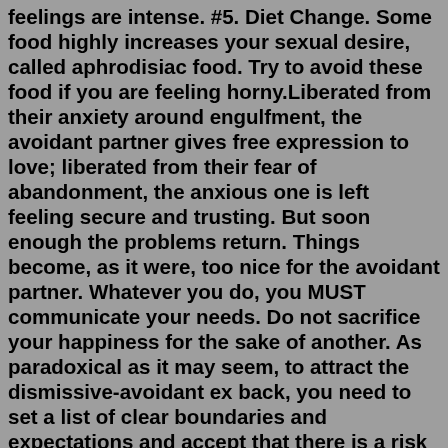feelings are intense. #5. Diet Change. Some food highly increases your sexual desire, called aphrodisiac food. Try to avoid these food if you are feeling horny.Liberated from their anxiety around engulfment, the avoidant partner gives free expression to love; liberated from their fear of abandonment, the anxious one is left feeling secure and trusting. But soon enough the problems return. Things become, as it were, too nice for the avoidant partner. Whatever you do, you MUST communicate your needs. Do not sacrifice your happiness for the sake of another. As paradoxical as it may seem, to attract the dismissive-avoidant ex back, you need to set a list of clear boundaries and expectations and accept that there is a risk of losing them by doing so. Apr 28, 2021 · Avoid Comparisons. Lastly, when we feel lazy it is natural to look around and think everyone else is getting it right except you. Don't allow yourself to get caught in the distraction of comparing yourself to others. 18. Remember, our inner critic is a roadblock to productivity and can